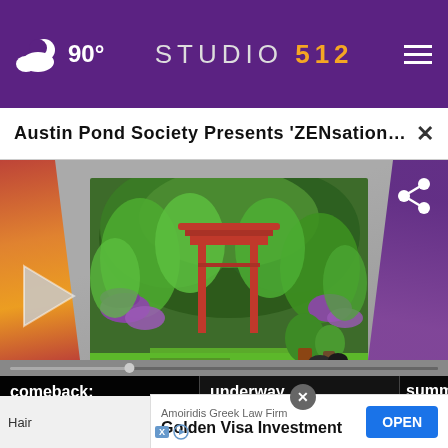90° STUDIO 512
Austin Pond Society Presents 'ZENsational Austin ...
[Figure (photo): Garden scene with Japanese-style gate, stepping stone path, lush tropical plants, potted flowers, a stone lantern, and manicured lawn. Video player interface with play button and share icon.]
comeback: Here's what ...
underway, these tips ...
summe...
Skin Treatment
mins ago
Hair
Amoiridis Greek Law Firm Golden Visa Investment
OPEN